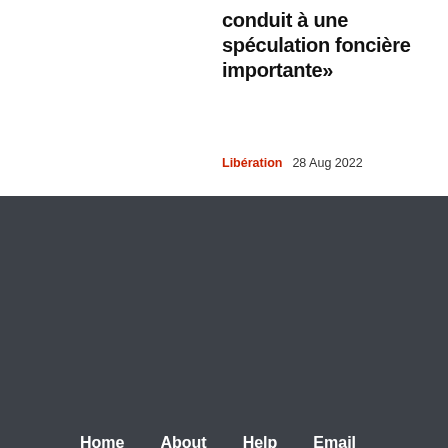conduit à une spéculation foncière importante»
Libération   28 Aug 2022
Home   About   Help   Email   Privacy
grain.org   Back to top ^